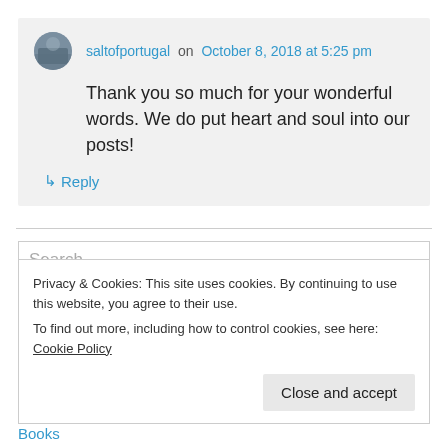saltofportugal on October 8, 2018 at 5:25 pm
Thank you so much for your wonderful words. We do put heart and soul into our posts!
↳ Reply
Search
Privacy & Cookies: This site uses cookies. By continuing to use this website, you agree to their use.
To find out more, including how to control cookies, see here: Cookie Policy
Close and accept
Books